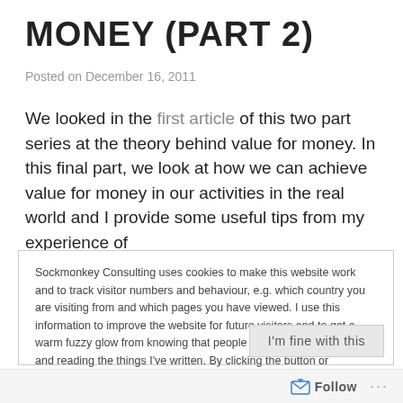MONEY (PART 2)
Posted on December 16, 2011
We looked in the first article of this two part series at the theory behind value for money. In this final part, we look at how we can achieve value for money in our activities in the real world and I provide some useful tips from my experience of
Sockmonkey Consulting uses cookies to make this website work and to track visitor numbers and behaviour, e.g. which country you are visiting from and which pages you have viewed. I use this information to improve the website for future visitors and to get a warm fuzzy glow from knowing that people are visiting my website and reading the things I've written. By clicking the button or continuing to use the website, you confirm that you're happy with this. You can read more about how Wordpress, which hosts this site, uses cookies here: Cookie Policy
I'm fine with this
Follow ...